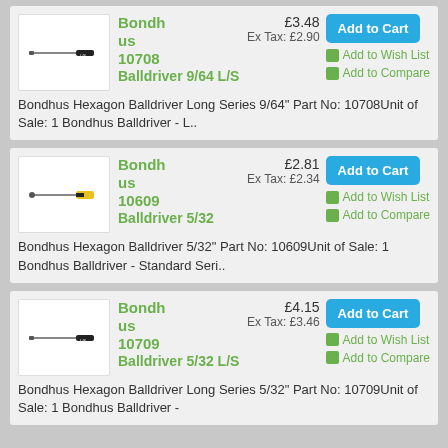[Figure (screenshot): E-commerce product listing page showing three Bondhus Balldriver screwdriver products with prices, images, and add to cart buttons.]
Bondhus 10708 Balldriver 9/64 L/S — £3.48, Ex Tax: £2.90. Add to Cart, Add to Wish List, Add to Compare. Bondhus Hexagon Balldriver Long Series 9/64" Part No: 10708Unit of Sale: 1 Bondhus Balldriver - L..
Bondhus 10609 Balldriver 5/32 — £2.81, Ex Tax: £2.34. Add to Cart, Add to Wish List, Add to Compare. Bondhus Hexagon Balldriver 5/32" Part No: 10609Unit of Sale: 1 Bondhus Balldriver - Standard Seri..
Bondhus 10709 Balldriver 5/32 L/S — £4.15, Ex Tax: £3.46. Add to Cart, Add to Wish List, Add to Compare. Bondhus Hexagon Balldriver Long Series 5/32" Part No: 10709Unit of Sale: 1 Bondhus Balldriver -